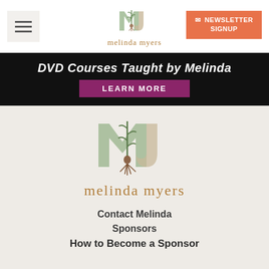[Figure (logo): Melinda Myers logo with plant/root motif inside letter M, header version]
[Figure (logo): Newsletter signup button with mail icon, orange background]
DVD Courses Taught by Melinda
LEARN MORE
[Figure (logo): Large Melinda Myers logo with plant/root motif inside letter M]
melinda myers
Contact Melinda
Sponsors
How to Become a Sponsor